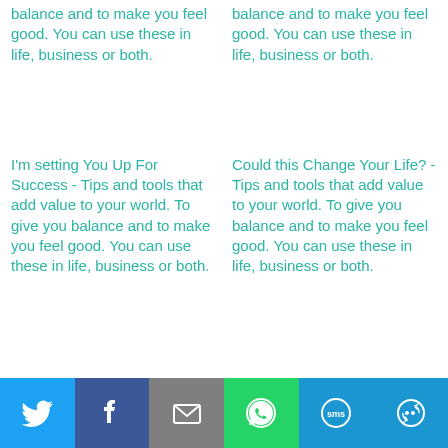balance and to make you feel good. You can use these in life, business or both.
balance and to make you feel good. You can use these in life, business or both.
I'm setting You Up For Success - Tips and tools that add value to your world. To give you balance and to make you feel good. You can use these in life, business or both.
Could this Change Your Life? - Tips and tools that add value to your world. To give you balance and to make you feel good. You can use these in life, business or both.
[Figure (infographic): Social sharing footer bar with icons: Twitter (blue), Facebook (dark blue), Email (grey), WhatsApp (green), SMS (blue), More (blue with circular arrows icon)]